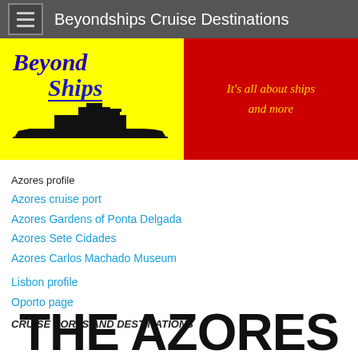Beyondships Cruise Destinations
[Figure (logo): BeyondShips logo with yellow background, ship silhouette, and red panel with tagline 'It's all about ships and more']
Azores profile
Azores cruise port
Azores Gardens of Ponta Delgada
Azores Sete Cidades
Azores Carlos Machado Museum
Lisbon profile
Oporto page
CRUISE PORTS AND DESTINATIONS
THE AZORES